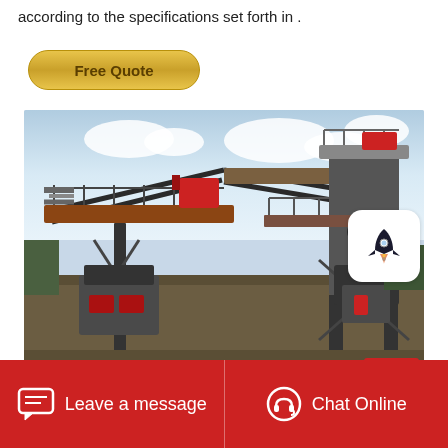according to the specifications set forth in .
[Figure (other): Golden rounded rectangle button labeled 'Free Quote']
[Figure (photo): Industrial aggregate crushing/processing plant with large machinery, conveyors, and steel structures against a partly cloudy sky. A rocket icon overlay appears in the upper right corner of the photo.]
Leave a message    Chat Online